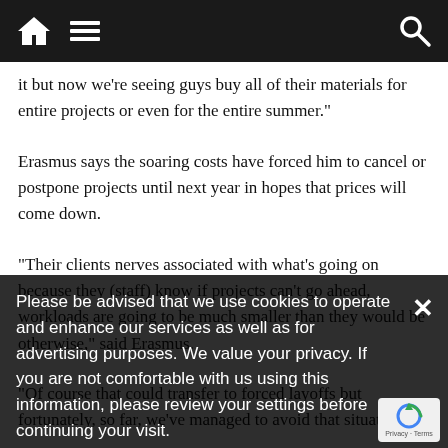[Navigation bar with home icon, menu icon, search icon]
it but now we're seeing guys buy all of their materials for entire projects or even for the entire summer."
Erasmus says the soaring costs have forced him to cancel or postpone projects until next year in hopes that prices will come down.
"Their clients nerves associated with what's going on because they (staff) know if projects can't go ahead, workloads are going to be much smaller than they would be otherwise," said Erasmus.
"Of course that could transfer to forced layoffs but fortunately, so far, we've managed to avoid that situation."
What's driving the price up?
Please be advised that we use cookies to operate and enhance our services as well as for advertising purposes. We value your privacy. If you are not comfortable with us using this information, please review your settings before continuing your visit.
Manage your navigation settings
Find out more